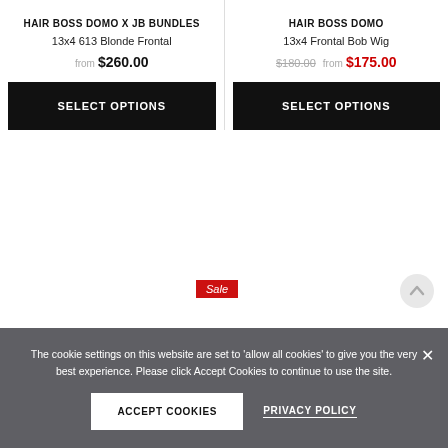HAIR BOSS DOMO X JB BUNDLES
13x4 613 Blonde Frontal
from $260.00
SELECT OPTIONS
HAIR BOSS DOMO
13x4 Frontal Bob Wig
$180.00 from $175.00
SELECT OPTIONS
Sale
The cookie settings on this website are set to 'allow all cookies' to give you the very best experience. Please click Accept Cookies to continue to use the site.
ACCEPT COOKIES
PRIVACY POLICY